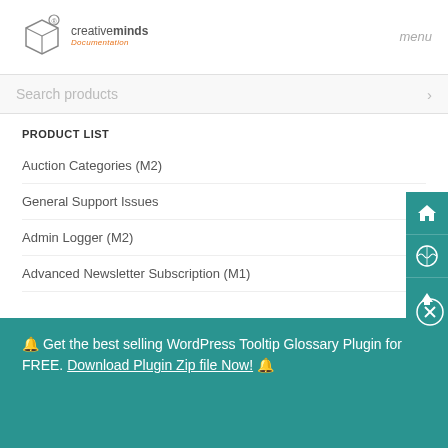creativeminds Documentation | menu
[Figure (logo): CreativeMinds logo: box icon with creative minds text and Documentation subtitle]
Search products
PRODUCT LIST
Auction Categories (M2)
General Support Issues
Admin Logger (M2)
Advanced Newsletter Subscription (M1)
🔔 Get the best selling WordPress Tooltip Glossary Plugin for FREE. Download Plugin Zip file Now! 🔔